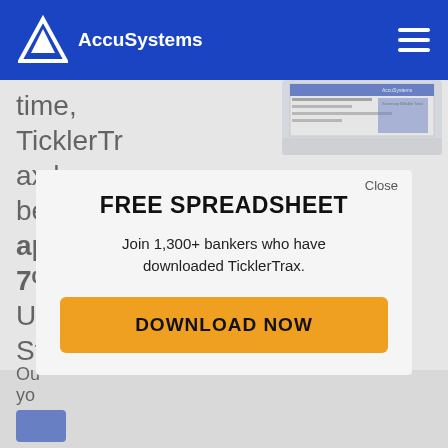AccuSystems
time, TicklerTrax has been downloaded by approximately 7% of community banks in the United States. Why has TicklerTrax gone viral among bankers? For starters, our team of t... cre... hig... ou... ov...
[Figure (screenshot): Screenshot of AccuSystems document/spreadsheet interface]
FREE SPREADSHEET
Join 1,300+ bankers who have downloaded TicklerTrax.
DOWNLOAD NOW
Our... yo...